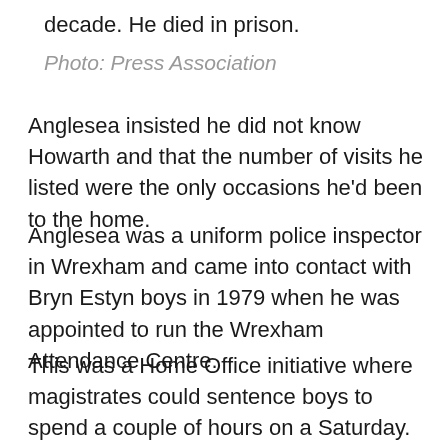decade. He died in prison.
Photo: Press Association
Anglesea insisted he did not know Howarth and that the number of visits he listed were the only occasions he'd been to the home.
Anglesea was a uniform police inspector in Wrexham and came into contact with Bryn Estyn boys in 1979 when he was appointed to run the Wrexham Attendance Centre.
This was a Home Office initiative where magistrates could sentence boys to spend a couple of hours on a Saturday.
Then in 1980 he took over the area which included Bryn Estyn.
He was still in charge when Bryn Estyn closed in 1984.